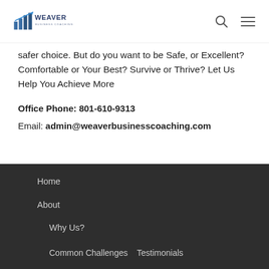Weaver Business Coaching — logo, search icon, menu icon
safer choice. But do you want to be Safe, or Excellent? Comfortable or Your Best? Survive or Thrive? Let Us Help You Achieve More
Office Phone: 801-610-9313
Email: admin@weaverbusinesscoaching.com
Home
About
Why Us?
Common Challenges   Testimonials